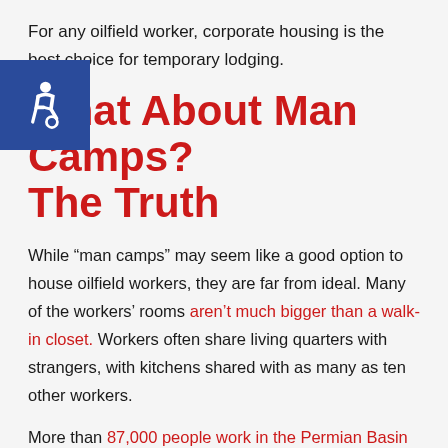For any oilfield worker, corporate housing is the best choice for temporary lodging.
What About Man Camps? The Truth
While “man camps” may seem like a good option to house oilfield workers, they are far from ideal. Many of the workers’ rooms aren’t much bigger than a walk-in closet. Workers often share living quarters with strangers, with kitchens shared with as many as ten other workers.
More than 87,000 people work in the Permian Basin oil and gas industry. The large and growing numbers of oilfield workers result in lodging complexes that are